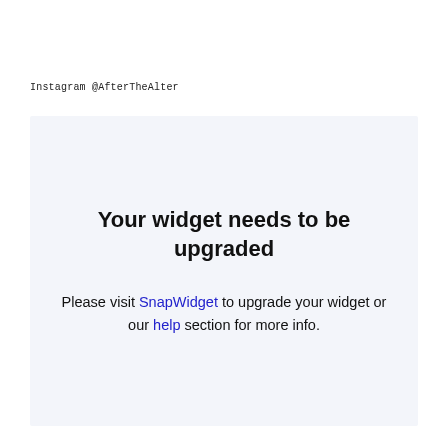Instagram @AfterTheAlter
Your widget needs to be upgraded
Please visit SnapWidget to upgrade your widget or our help section for more info.